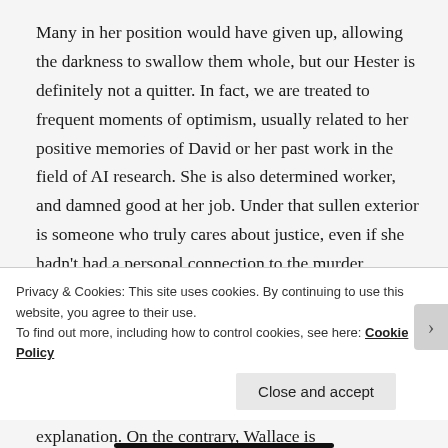Many in her position would have given up, allowing the darkness to swallow them whole, but our Hester is definitely not a quitter. In fact, we are treated to frequent moments of optimism, usually related to her positive memories of David or her past work in the field of AI research. She is also determined worker, and damned good at her job. Under that sullen exterior is someone who truly cares about justice, even if she hadn't had a personal connection to the murder investigation.

The plot is also propelled by insistent pacing, with practically no downtime at all. Yet never once did I feel rushed or that the narrative was lacking in explanation. On the contrary, Wallace is
Privacy & Cookies: This site uses cookies. By continuing to use this website, you agree to their use.
To find out more, including how to control cookies, see here: Cookie Policy
Close and accept